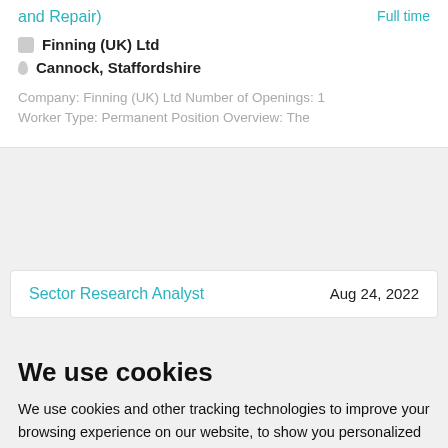and Repair)
Full time
Finning (UK) Ltd
Cannock, Staffordshire
Company: Finning (UK) Ltd Number of Openings: 1 Worker Type: Permanent Position Overview: The
Sector Research Analyst
Aug 24, 2022
We use cookies
We use cookies and other tracking technologies to improve your browsing experience on our website, to show you personalized content and targeted ads, to analyze our website traffic, and to understand where our visitors are coming from.